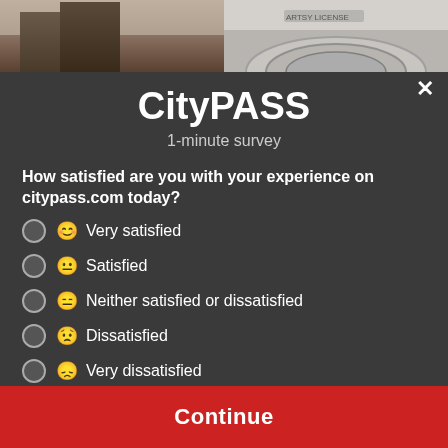[Figure (photo): Photo strip at the top showing two city/building images side by side]
CityPASS
1-minute survey
How satisfied are you with your experience on citypass.com today?
Very satisfied
Satisfied
Neither satisfied or dissatisfied
Dissatisfied
Very dissatisfied
Continue